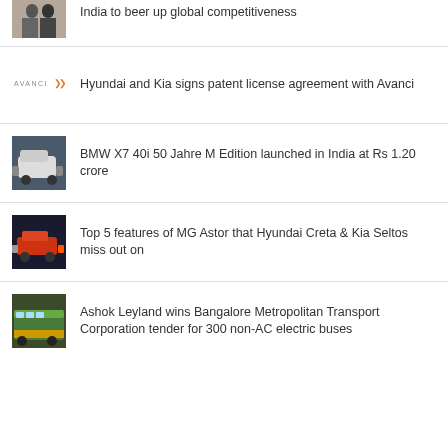[Figure (photo): Two people in formal attire, partial view at top]
India to beer up global competitiveness
[Figure (logo): Avanci logo with orange arrow]
Hyundai and Kia signs patent license agreement with Avanci
[Figure (photo): BMW X7 SUV in dark setting]
BMW X7 40i 50 Jahre M Edition launched in India at Rs 1.20 crore
[Figure (photo): MG Astor red car]
Top 5 features of MG Astor that Hyundai Creta & Kia Seltos miss out on
[Figure (photo): Ashok Leyland electric bus, green and white]
Ashok Leyland wins Bangalore Metropolitan Transport Corporation tender for 300 non-AC electric buses